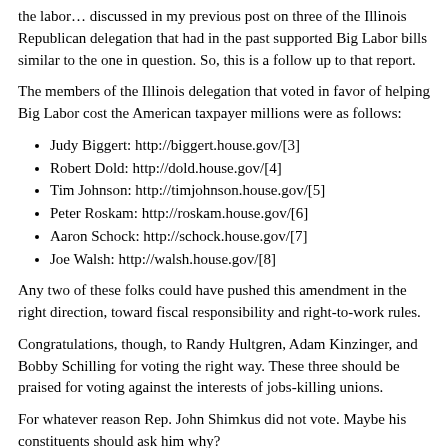the labor… discussed in my previous post on three of the Illinois Republican delegation that had in the past supported Big Labor bills similar to the one in question. So, this is a follow up to that report.
The members of the Illinois delegation that voted in favor of helping Big Labor cost the American taxpayer millions were as follows:
Judy Biggert: http://biggert.house.gov/[3]
Robert Dold: http://dold.house.gov/[4]
Tim Johnson: http://timjohnson.house.gov/[5]
Peter Roskam: http://roskam.house.gov/[6]
Aaron Schock: http://schock.house.gov/[7]
Joe Walsh: http://walsh.house.gov/[8]
Any two of these folks could have pushed this amendment in the right direction, toward fiscal responsibility and right-to-work rules.
Congratulations, though, to Randy Hultgren, Adam Kinzinger, and Bobby Schilling for voting the right way. These three should be praised for voting against the interests of jobs-killing unions.
For whatever reason Rep. John Shimkus did not vote. Maybe his constituents should ask him why?
I forgot, they also voted to help unions that are costing Illinois…